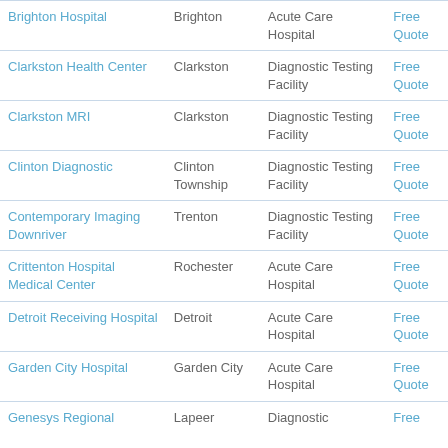| Name | City | Type | Action |
| --- | --- | --- | --- |
| Brighton Hospital | Brighton | Acute Care Hospital | Free Quote |
| Clarkston Health Center | Clarkston | Diagnostic Testing Facility | Free Quote |
| Clarkston MRI | Clarkston | Diagnostic Testing Facility | Free Quote |
| Clinton Diagnostic | Clinton Township | Diagnostic Testing Facility | Free Quote |
| Contemporary Imaging Downriver | Trenton | Diagnostic Testing Facility | Free Quote |
| Crittenton Hospital Medical Center | Rochester | Acute Care Hospital | Free Quote |
| Detroit Receiving Hospital | Detroit | Acute Care Hospital | Free Quote |
| Garden City Hospital | Garden City | Acute Care Hospital | Free Quote |
| Genesys Regional | Lapeer | Diagnostic | Free |